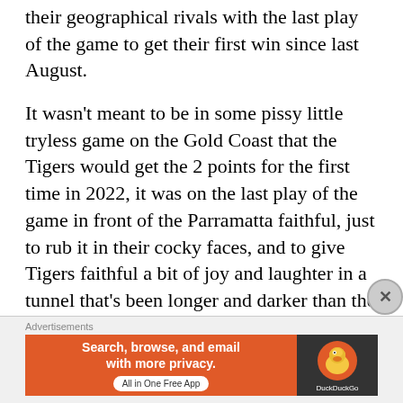their geographical rivals with the last play of the game to get their first win since last August.
It wasn't meant to be in some pissy little tryless game on the Gold Coast that the Tigers would get the 2 points for the first time in 2022, it was on the last play of the game in front of the Parramatta faithful, just to rub it in their cocky faces, and to give Tigers faithful a bit of joy and laughter in a tunnel that's been longer and darker than the Mont Blanc Tunnel.
They say Jesus rose on the third day, well, the
[Figure (screenshot): DuckDuckGo advertisement banner: orange left panel with text 'Search, browse, and email with more privacy. All in One Free App' and dark right panel with DuckDuckGo logo]